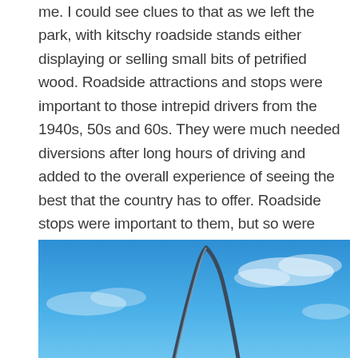me. I could see clues to that as we left the park, with kitschy roadside stands either displaying or selling small bits of petrified wood. Roadside attractions and stops were important to those intrepid drivers from the 1940s, 50s and 60s. They were much needed diversions after long hours of driving and added to the overall experience of seeing the best that the country has to offer. Roadside stops were important to them, but so were certain deviations from Route 66.
[Figure (photo): Photo of the Gateway Arch in St. Louis against a bright blue sky with light clouds. The arch is partially visible, rising from the bottom of the frame.]